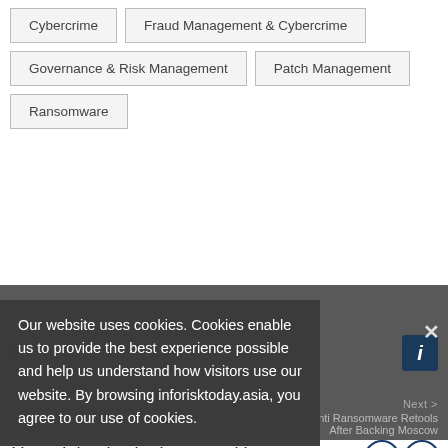Cybercrime
Fraud Management & Cybercrime
Governance & Risk Management
Patch Management
Ransomware
Our website uses cookies. Cookies enable us to provide the best experience possible and help us understand how visitors use our website. By browsing inforisktoday.asia, you agree to our use of cookies.
< Previous
Highlights of RSA Conference 2022
Next >
Cybercrime: Conti Ransomware Retools After Backing Moscow
You might also be interested in ...